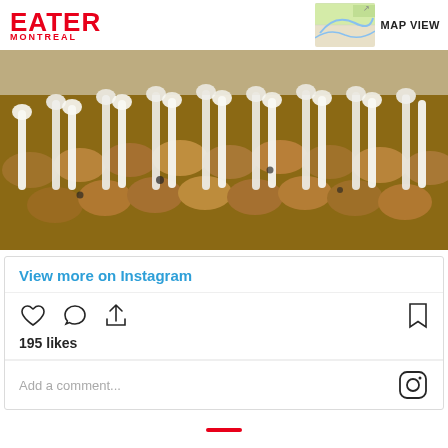EATER MONTREAL
MAP VIEW
[Figure (photo): Close-up photo of pastries/cookies with white cream filling arranged in rows, shot from a low angle with shallow depth of field]
View more on Instagram
195 likes
Add a comment...